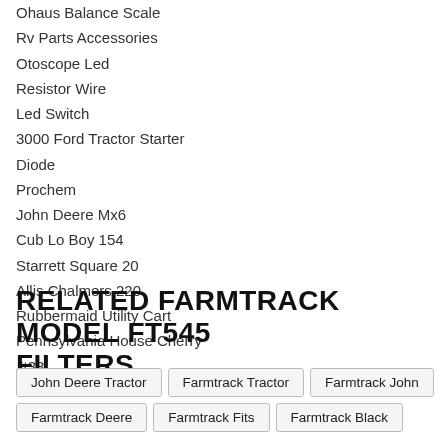Ohaus Balance Scale
Rv Parts Accessories
Otoscope Led
Resistor Wire
Led Switch
3000 Ford Tractor Starter
Diode
Prochem
John Deere Mx6
Cub Lo Boy 154
Starrett Square 20
Allis Chalmers 220
Rubbermaid Utility Cart
Pennsylvania House Cherry
Jt33
RELATED FARMTRACK MODEL FT545 FILTERS
John Deere Tractor
Farmtrack Tractor
Farmtrack John
Farmtrack Deere
Farmtrack Fits
Farmtrack Black